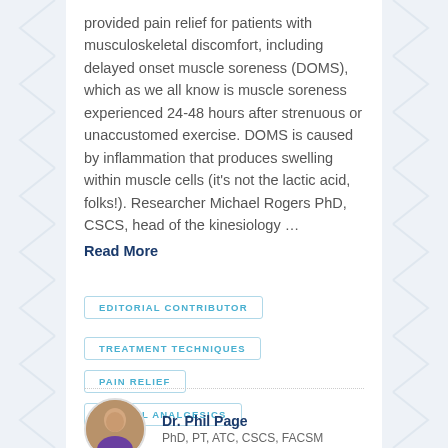provided pain relief for patients with musculoskeletal discomfort, including delayed onset muscle soreness (DOMS), which as we all know is muscle soreness experienced 24-48 hours after strenuous or unaccustomed exercise. DOMS is caused by inflammation that produces swelling within muscle cells (it's not the lactic acid, folks!). Researcher Michael Rogers PhD, CSCS, head of the kinesiology … Read More
EDITORIAL CONTRIBUTOR
TREATMENT TECHNIQUES
PAIN RELIEF
TOPICAL ANALGESICS
[Figure (photo): Circular avatar photo of Dr. Phil Page, a bald man wearing a purple shirt, arms crossed]
Dr. Phil Page
PhD, PT, ATC, CSCS, FACSM